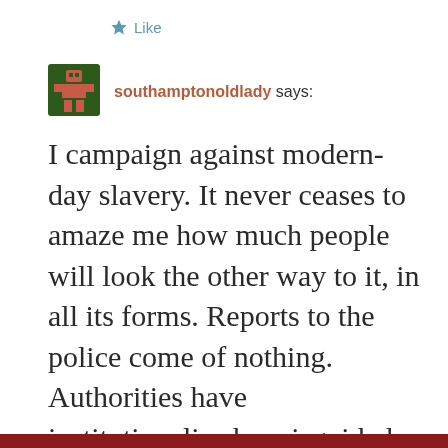[Figure (other): Like button with star icon and 'Like' text in blue]
[Figure (other): User avatar — pixel art style icon, dark green background with pink/red figure, for user southamptonoldlady]
southamptonoldlady says:
I campaign against modern-day slavery. It never ceases to amaze me how much people will look the other way to it, in all its forms. Reports to the police come of nothing. Authorities have institutionalised a misguided sense of anti-racism which is